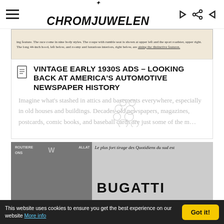CHROMJUWELEN
[Figure (photo): Newspaper clipping strip showing vintage car advertisement text about body styles, coupe with rumble seat, sport roadster, 44-inch hood, and luxurious interiors]
VINTAGE EARLY 1930S ADS – LOOKING BACK AT AMERICA'S AUTOMOTIVE NEWSPAPER HISTORY
Imagine what's stashed in attics and basements everywhere, especially in old houses and buildings. Decades-old newspapers, magazines, postcards, comic books, and baseball cards are just some of the m…
[Figure (photo): Black and white photograph of a Bugatti sign/display at what appears to be a French auto show or dealership, with text 'Le plus fort tirage des Quotidiens du sud est' and 'BUGATTI' in large letters]
This website uses cookies to ensure you get the best experience on our website More info